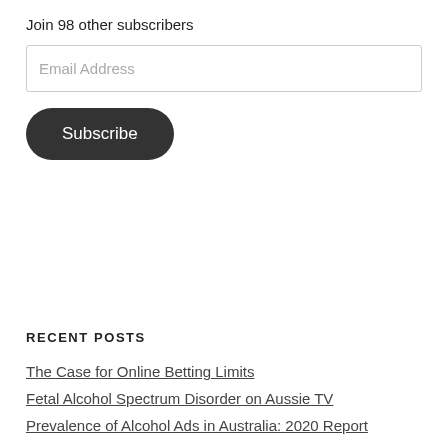Join 98 other subscribers
[Figure (other): Email Address input field]
[Figure (other): Subscribe button]
RECENT POSTS
The Case for Online Betting Limits
Fetal Alcohol Spectrum Disorder on Aussie TV
Prevalence of Alcohol Ads in Australia: 2020 Report